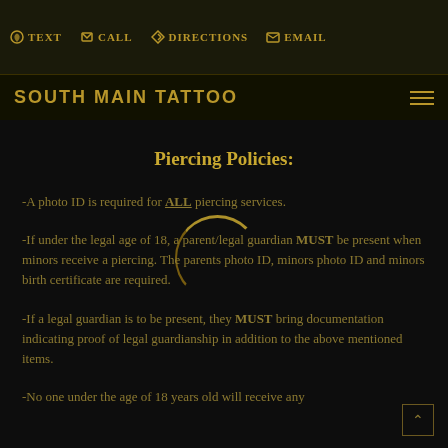TEXT  CALL  DIRECTIONS  EMAIL  SOUTH MAIN TATTOO
Piercing Policies:
-A photo ID is required for ALL piercing services.
-If under the legal age of 18, a parent/legal guardian MUST be present when minors receive a piercing. The parents photo ID, minors photo ID and minors birth certificate are required.
-If a legal guardian is to be present, they MUST bring documentation indicating proof of legal guardianship in addition to the above mentioned items.
-No one under the age of 18 years old will receive any